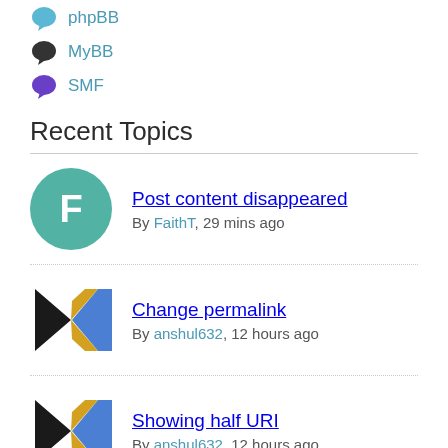phpBB
MyBB
SMF
Recent Topics
Post content disappeared
By FaithT, 29 mins ago
Change permalink
By anshul632, 12 hours ago
Showing half URI
By anshul632, 12 hours ago
Login and register forms are no longer showing
By jaennexu, 15 hours ago